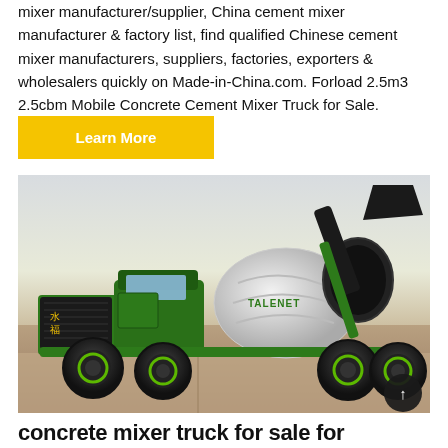mixer manufacturer/supplier, China cement mixer manufacturer & factory list, find qualified Chinese cement mixer manufacturers, suppliers, factories, exporters & wholesalers quickly on Made-in-China.com. Forload 2.5m3 2.5cbm Mobile Concrete Cement Mixer Truck for Sale.
Learn More
[Figure (photo): A green and black self-loading concrete cement mixer truck branded 'TALENET' with large black tires, a white mixing drum, black engine housing with Chinese characters, and a raised loading bucket, photographed against a beige outdoor background.]
concrete mixer truck for sale for